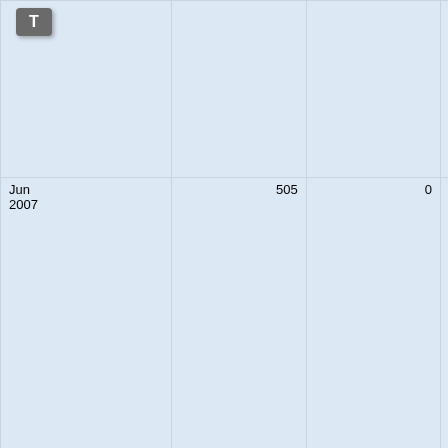[Figure (screenshot): Small T icon (toolbar button) in upper-left corner]
| Date | Value1 | Value2 | Value3 | Details |
| --- | --- | --- | --- | --- |
|  |  |  |  | 27
27
18
17
17
16
12 |
| Jun 2007 | 505 | 0 | 0 | 108
50
Pro
44
41
33
29
24
23
20
19
18 |
| Feb 2006 | 167 | 3 | 0 | 105
24
Pro |